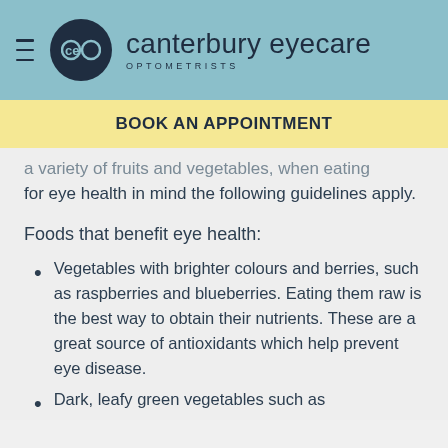Canterbury Eyecare Optometrists
BOOK AN APPOINTMENT
a variety of fruits and vegetables, when eating for eye health in mind the following guidelines apply.
Foods that benefit eye health:
Vegetables with brighter colours and berries, such as raspberries and blueberries. Eating them raw is the best way to obtain their nutrients. These are a great source of antioxidants which help prevent eye disease.
Dark, leafy green vegetables such as